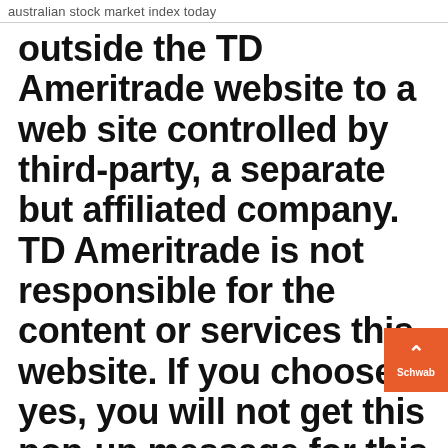australian stock market index today
outside the TD Ameritrade website to a web site controlled by third-party, a separate but affiliated company. TD Ameritrade is not responsible for the content or services this website. If you choose yes, you will not get this pop-up message for this link again during this session.
Is TD Ameritrade Good for Beginners? Is it a Good Broker For Investing? Is TD Ameritrade a good company to invest with for the first time beginner investors? Is it expensive brokerage firm? TD Ameritrade online broker guide to novice investors on how to buy stock, mutual fund, and ETF in 2020. Charles Schwab to buy TD Ameritrade in a $26 billion all... Nov 25, 2019 · The new...